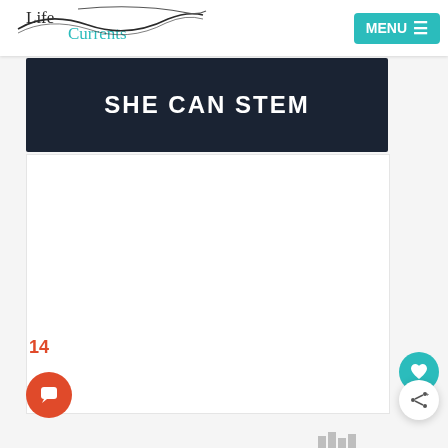[Figure (logo): Life Currents logo with stylized wave lines]
[Figure (screenshot): MENU hamburger button in teal/cyan background]
SHE CAN STEM
[Figure (photo): White content area below the SHE CAN STEM banner]
14
[Figure (other): Orange chat bubble floating button]
[Figure (other): Teal heart/like floating button]
[Figure (other): White share floating button]